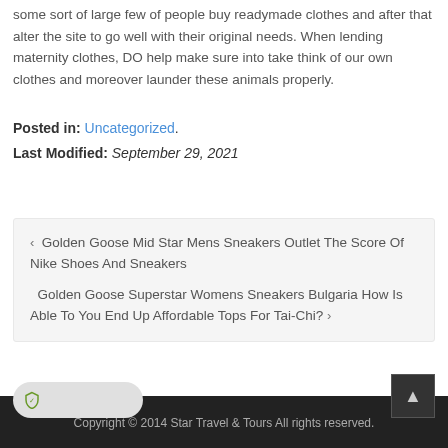some sort of large few of people buy readymade clothes and after that alter the site to go well with their original needs. When lending maternity clothes, DO help make sure into take think of our own clothes and moreover launder these animals properly.
Posted in: Uncategorized.
Last Modified: September 29, 2021
‹ Golden Goose Mid Star Mens Sneakers Outlet The Score Of Nike Shoes And Sneakers
Golden Goose Superstar Womens Sneakers Bulgaria How Is Able To You End Up Affordable Tops For Tai-Chi? ›
Copyright © 2014 Star Travel & Tours All rights reserved.